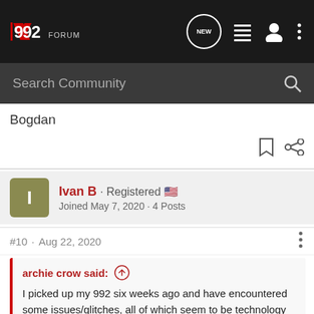992 Forum — navigation bar with logo, NEW chat icon, list icon, user icon, more icon
Search Community
Bogdan
Ivan B · Registered 🇺🇸
Joined May 7, 2020 · 4 Posts
#10 · Aug 22, 2020
archie crow said: ↑
I picked up my 992 six weeks ago and have encountered some issues/glitches, all of which seem to be technology related. Has anyone else seen this with their 992?

1. Door handles do not always pop out when touched while the key is